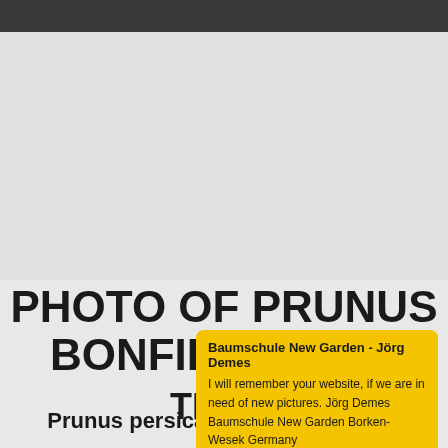[Figure (photo): Large photo area of Prunus persica Bonfire (peach tree), shown as a light grey placeholder]
PHOTO OF PRUNUS BONFIRE (PEACH TREE)
Baumschule New Garden - Jörg Demes
I will remember your website, if we are in need of new pictures. Jörg Demes Baumschule New Garden Borken-Wesek Germany
Prunus persica Bonfire - A popular